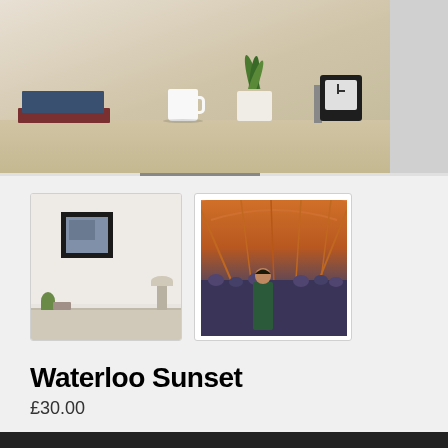[Figure (photo): Hero image showing a light-colored desk with books, a white mug, a plant in a white pot, and a small black clock on it, against a light background]
[Figure (photo): Thumbnail 1: Room interior with a framed artwork hanging on wall, small plant and lamp visible]
[Figure (illustration): Thumbnail 2: Colorful artwork showing a figure in a green garment under arched orange/amber ceiling, crowd in background (Waterloo Sunset)]
Waterloo Sunset
£30.00
Small Unframed Print (£30.00)
1